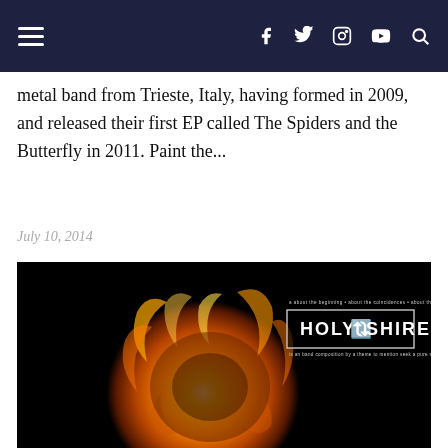Navigation bar with hamburger menu and social icons: f (Facebook), Twitter, Instagram, YouTube, Search
metal band from Trieste, Italy, having formed in 2009, and released their first EP called The Spiders and the Butterfly in 2011. Paint the...
July 10, 2014
[Figure (photo): Album artwork for Holy Shire. Dark background with a glowing fiery spherical form in orange and golden tones, with the band name 'HOLY SHIRE' displayed in a bordered text box in the upper right corner.]